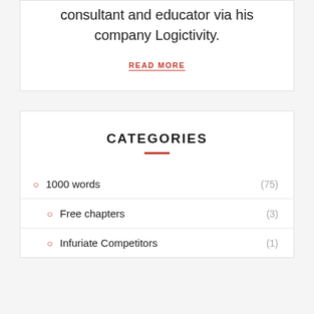consultant and educator via his company Logictivity.
READ MORE
CATEGORIES
1000 words (75)
Free chapters (3)
Infuriate Competitors (1)